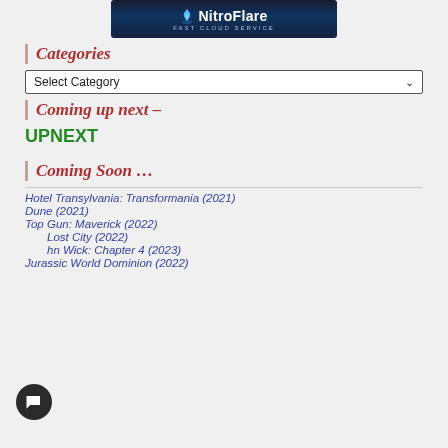[Figure (logo): NitroFlare Fast Cloud Service logo banner with flame icon on dark blue background]
Categories
Select Category (dropdown)
Coming up next –
UPNEXT
Coming Soon …
Hotel Transylvania: Transformania (2021)
Dune (2021)
Top Gun: Maverick (2022)
The Lost City (2022)
John Wick: Chapter 4 (2023)
Jurassic World Dominion (2022)